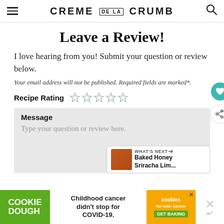CREME DE LA CRUMB
Leave a Review!
I love hearing from you! Submit your question or review below.
Your email address will not be published. Required fields are marked*.
Recipe Rating ☆☆☆☆☆
Message
Type your question or review here.
[Figure (screenshot): What's Next popup showing Baked Honey Sriracha Lim... with thumbnail]
[Figure (screenshot): Advertisement banner: Cookie Dough - Childhood cancer didn't stop for COVID-19. Cookies for kids cancer GET BAKING]